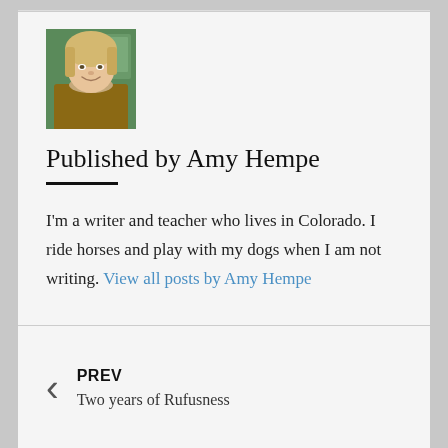[Figure (photo): Author photo of Amy Hempe, a woman with blonde hair and a scarf, smiling, with a green background]
Published by Amy Hempe
I'm a writer and teacher who lives in Colorado. I ride horses and play with my dogs when I am not writing. View all posts by Amy Hempe
PREV
Two years of Rufusness